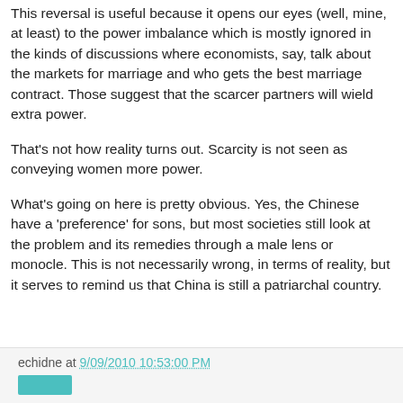This reversal is useful because it opens our eyes (well, mine, at least) to the power imbalance which is mostly ignored in the kinds of discussions where economists, say, talk about the markets for marriage and who gets the best marriage contract. Those suggest that the scarcer partners will wield extra power.
That's not how reality turns out. Scarcity is not seen as conveying women more power.
What's going on here is pretty obvious. Yes, the Chinese have a 'preference' for sons, but most societies still look at the problem and its remedies through a male lens or monocle. This is not necessarily wrong, in terms of reality, but it serves to remind us that China is still a patriarchal country.
echidne at 9/09/2010 10:53:00 PM